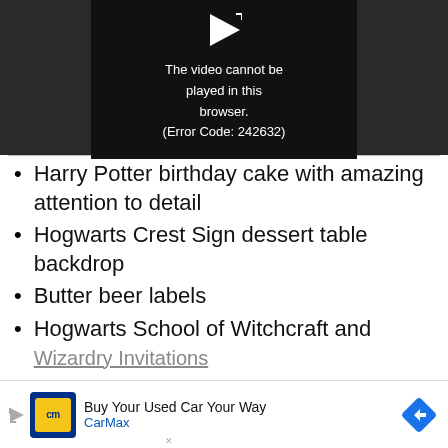[Figure (screenshot): Video player showing error: 'The video cannot be played in this browser. (Error Code: 242632)']
Harry Potter birthday cake with amazing attention to detail
Hogwarts Crest Sign dessert table backdrop
Butter beer labels
Hogwarts School of Witchcraft and Wizardry Invitations
[Figure (screenshot): CarMax advertisement: 'Buy Your Used Car Your Way - CarMax']